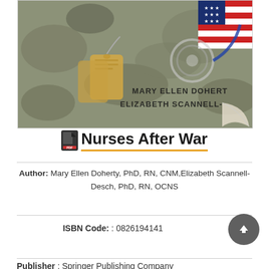[Figure (photo): Book cover photo showing military camouflage fabric with dog tags and a stethoscope, with an American flag visible in the upper right. Author names 'MARY ELLEN DOHERT' and 'ELIZABETH SCANNELL-' visible on the cover.]
Nurses After War
Author: Mary Ellen Doherty, PhD, RN, CNM, Elizabeth Scannell-Desch, PhD, RN, OCNS
ISBN Code: : 0826194141
Publisher : Springer Publishing Company